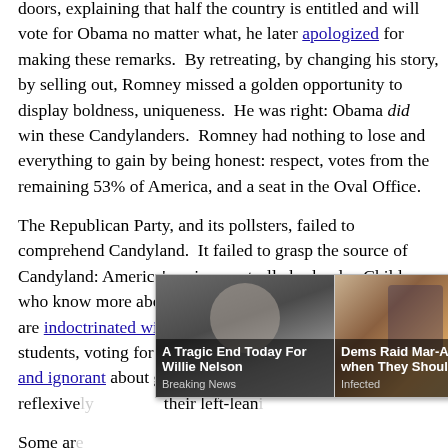doors, explaining that half the country is entitled and will vote for Obama no matter what, he later apologized for making these remarks.  By retreating, by changing his story, by selling out, Romney missed a golden opportunity to display boldness, uniqueness.  He was right: Obama did win these Candylanders.  Romney had nothing to lose and everything to gain by being honest: respect, votes from the remaining 53% of America, and a seat in the Oval Office.
The Republican Party, and its pollsters, failed to comprehend Candyland.  It failed to grasp the source of Candyland: America's union-controlled schools.  Children, who know more about global warming than free enterprise, are indoctrinated with socialism and Obama.  College students, voting for the first time, are alarmingly socialistic and ignorant about government and curr[ent events]. Youth reflexive[ly adopt] their left-lean[ing views from]
[Figure (photo): Advertisement overlay with two news thumbnail cards. Left card: photo of elderly man (Willie Nelson lookalike), headline 'A Tragic End Today For Willie Nelson', source 'Breaking News'. Right card: photo of man in suit at desk, headline 'Dems Raid Mar-A-Lago when They Should b...', source 'Infected'. Close button (×) top right.]
Some ar[e...]